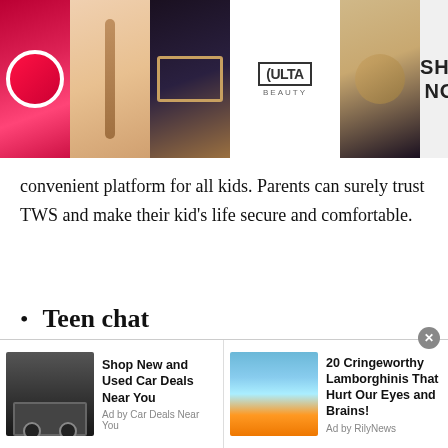[Figure (screenshot): Ulta Beauty advertisement banner with makeup imagery, Ulta Beauty logo, and Shop Now button]
convenient platform for all kids. Parents can surely trust TWS and make their kid's life secure and comfortable.
Teen chat
TWS free teen chat is specifically designed for all teen girls and boys who want to find friends and meet new people worldwide. Yes, talking to strangers in Aruba for teens is not a big deal. TWS teen chat enables teenagers to talk to random
[Figure (screenshot): Bottom advertisement bar with two ads: 'Shop New and Used Car Deals Near You' by Car Deals Near You, and '20 Cringeworthy Lamborghinis That Hurt Our Eyes and Brains!' by RilyNews]